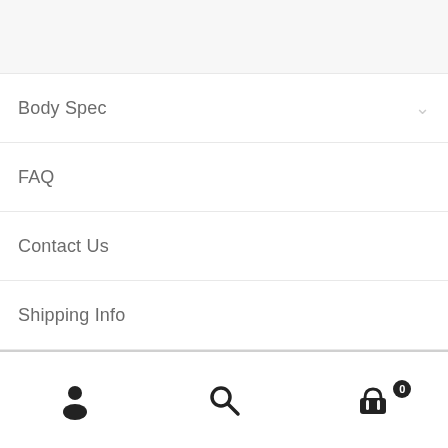Body Spec
FAQ
Contact Us
Shipping Info
Video
[Figure (screenshot): Bottom navigation bar with user account icon, search icon, and shopping cart icon with badge showing 0]